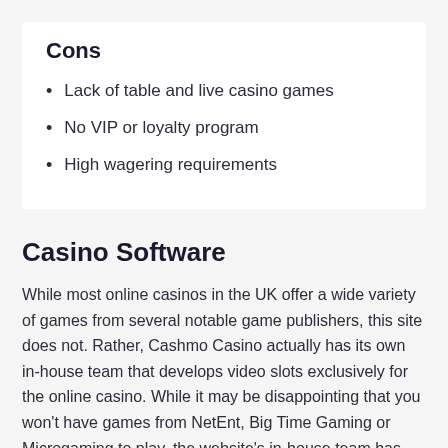Cons
Lack of table and live casino games
No VIP or loyalty program
High wagering requirements
Casino Software
While most online casinos in the UK offer a wide variety of games from several notable game publishers, this site does not. Rather, Cashmo Casino actually has its own in-house team that develops video slots exclusively for the online casino. While it may be disappointing that you won't have games from NetEnt, Big Time Gaming or Microgaming to play, the website's in-house team has developed some truly unique slots you won't find anywhere else.